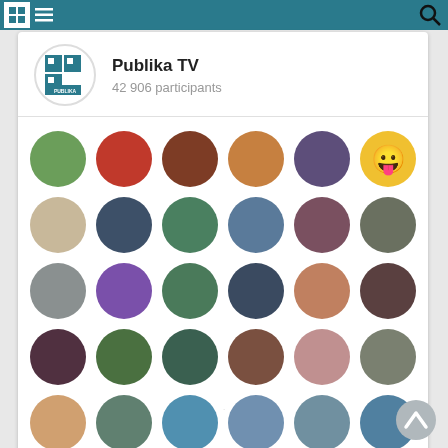Navigation bar with grid and menu icons, search icon
[Figure (logo): Publika TV group logo — blue square with grid pattern]
Publika TV
42 906 participants
[Figure (photo): Grid of 30 circular user profile avatars in 6 columns x 5 rows]
OK Join